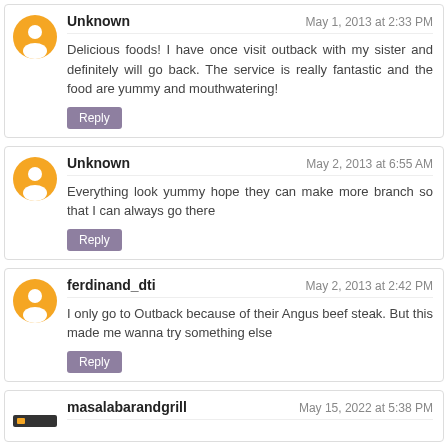Unknown — May 1, 2013 at 2:33 PM
Delicious foods! I have once visit outback with my sister and definitely will go back. The service is really fantastic and the food are yummy and mouthwatering!
Reply
Unknown — May 2, 2013 at 6:55 AM
Everything look yummy hope they can make more branch so that I can always go there
Reply
ferdinand_dti — May 2, 2013 at 2:42 PM
I only go to Outback because of their Angus beef steak. But this made me wanna try something else
Reply
masalabarandgrill — May 15, 2022 at 5:38 PM